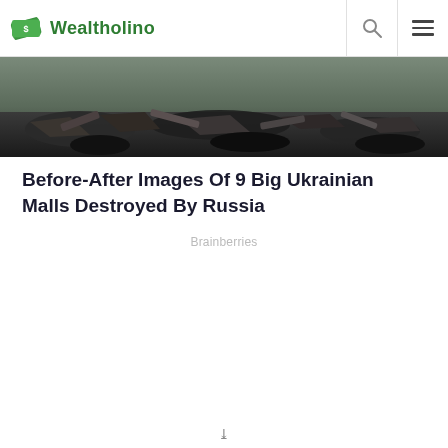Wealtholino
[Figure (photo): Debris and destroyed military/industrial equipment in a war-damaged area, dark tones with rubble and wreckage visible]
Before-After Images Of 9 Big Ukrainian Malls Destroyed By Russia
Brainberries